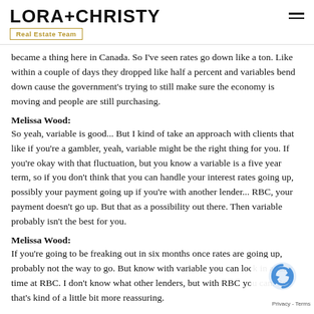LORA+CHRISTY Real Estate Team
became a thing here in Canada. So I've seen rates go down like a ton. Like within a couple of days they dropped like half a percent and variables bend down cause the government's trying to still make sure the economy is moving and people are still purchasing.
Melissa Wood:
So yeah, variable is good... But I kind of take an approach with clients that like if you're a gambler, yeah, variable might be the right thing for you. If you're okay with that fluctuation, but you know a variable is a five year term, so if you don't think that you can handle your interest rates going up, possibly your payment going up if you're with another lender... RBC, your payment doesn't go up. But that as a possibility out there. Then variable probably isn't the best for you.
Melissa Wood:
If you're going to be freaking out in six months once rates are going up, probably not the way to go. But know with variable you can lock in at any time at RBC. I don't know what other lenders, but with RBC you can. So that's kind of a little bit more reassuring.